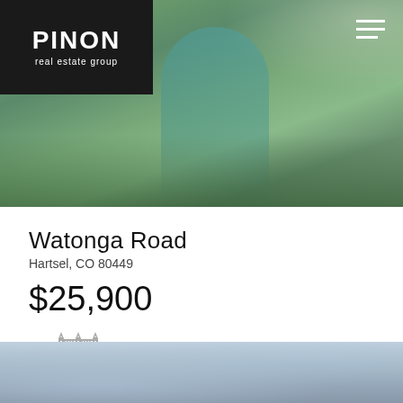[Figure (photo): Hero image of a woman gardening with plants and pots, with a decorative metal sculpture visible. Pinon Real Estate Group logo in top-left black box with hamburger menu icon top-right.]
Watonga Road
Hartsel, CO 80449
$25,900
[Figure (illustration): Fence/land icon (acreage icon) in gray outline style]
6.7
Acres
[Figure (photo): Bottom footer image showing a blue-gray sky or mountain landscape.]